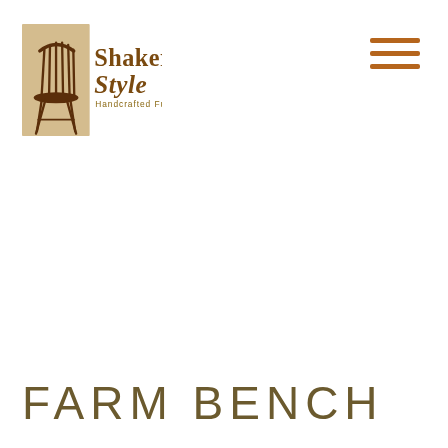[Figure (logo): Shaker Style Handcrafted Furniture logo — a dark brown Windsor-style chair silhouette on a tan/beige square background, with 'Shaker Style' in large serif text and 'Handcrafted Furniture' in smaller text beneath]
[Figure (other): Hamburger menu icon — three horizontal brown lines on the right side of the header]
FARM BENCH